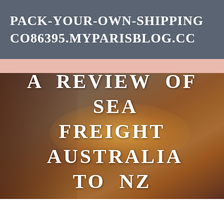PACK-YOUR-OWN-SHIPPING CO86395.MYPARISBLOG.CC
[Figure (photo): Background sunset photo with a person silhouetted on the left side, orange and golden light reflecting on water, with a scenic horizon in the background. A large overlay title reads 'A REVIEW OF SEA FREIGHT AUSTRALIA TO NZ' in bold white text with a horizontal divider line beneath it.]